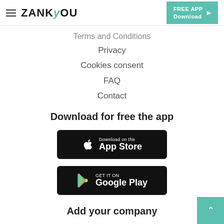ZANKYOU — FREE APP Download
Terms and Conditions
Privacy
Cookies consent
FAQ
Contact
Download for free the app
[Figure (screenshot): Download on the App Store badge]
[Figure (screenshot): GET IT ON Google Play badge]
Add your company
Request your company listing here
Professional App